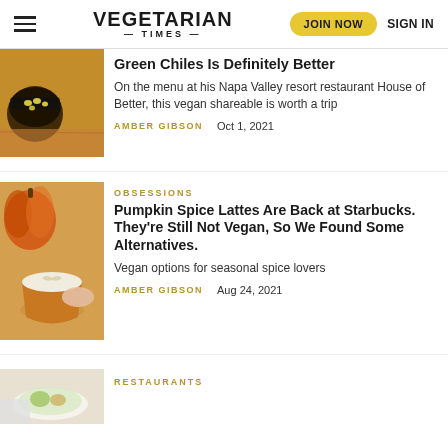VEGETARIAN TIMES | JOIN NOW | SIGN IN
Green Chiles Is Definitely Better
On the menu at his Napa Valley resort restaurant House of Better, this vegan shareable is worth a trip
AMBER GIBSON   Oct 1, 2021
OBSESSIONS
Pumpkin Spice Lattes Are Back at Starbucks. They're Still Not Vegan, So We Found Some Alternatives.
Vegan options for seasonal spice lovers
AMBER GIBSON   Aug 24, 2021
RESTAURANTS